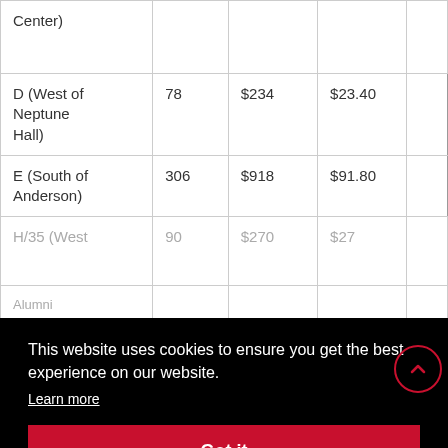| Center) |  |  |  |  |
| D (West of Neptune Hall) | 78 | $234 | $23.40 |  |
| E (South of Anderson) | 306 | $918 | $91.80 |  |
| H/35 (West | 90 | $270 | $27 |  |
| Alumni |  |  |  |  |
[Figure (screenshot): Cookie consent banner overlay with black background, text 'This website uses cookies to ensure you get the best experience on our website.', a 'Learn more' underlined link, and a red 'Got it' button.]